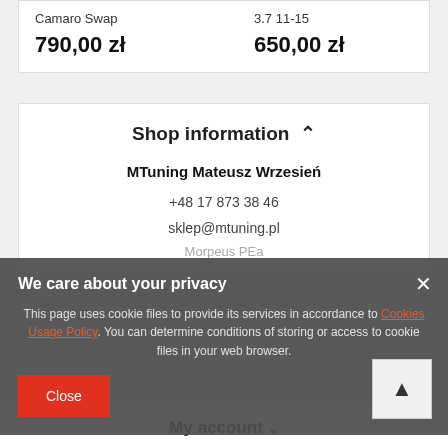| Camaro Swap | 3.7 11-15 |
| 790,00 zł | 650,00 zł |
Shop information ^
MTuning Mateusz Wrzesień
+48 17 873 38 46
sklep@mtuning.pl
Morpeus PEa
We care about your privacy
This page uses cookie files to provide its services in accordance to Cookies Usage Policy. You can determine conditions of storing or access to cookie files in your web browser.
Close
My account v